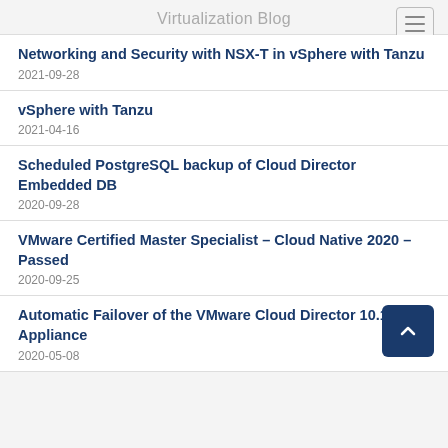Virtualization Blog
Networking and Security with NSX-T in vSphere with Tanzu
2021-09-28
vSphere with Tanzu
2021-04-16
Scheduled PostgreSQL backup of Cloud Director Embedded DB
2020-09-28
VMware Certified Master Specialist – Cloud Native 2020 – Passed
2020-09-25
Automatic Failover of the VMware Cloud Director 10.1 Appliance
2020-05-08